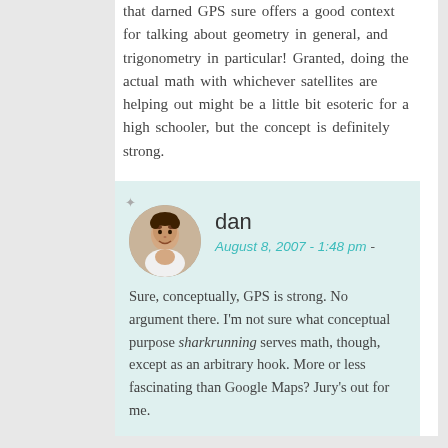that darned GPS sure offers a good context for talking about geometry in general, and trigonometry in particular! Granted, doing the actual math with whichever satellites are helping out might be a little bit esoteric for a high schooler, but the concept is definitely strong.
dan
August 8, 2007 - 1:48 pm -
Sure, conceptually, GPS is strong. No argument there. I'm not sure what conceptual purpose sharkrunning serves math, though, except as an arbitrary hook. More or less fascinating than Google Maps? Jury's out for me.